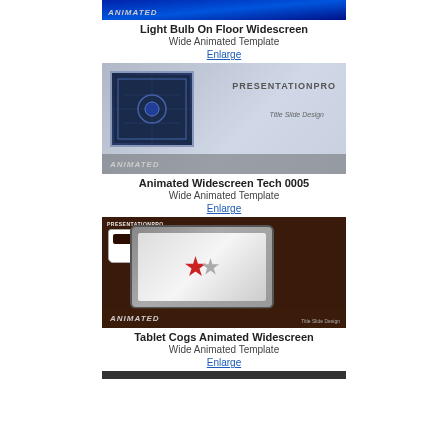[Figure (screenshot): Top partial image of Light Bulb On Floor Widescreen animated template with blue background and ANIMATED label]
Light Bulb On Floor Widescreen
Wide Animated Template
Enlarge
[Figure (screenshot): Animated Widescreen Tech 0005 template preview with PRESENTATIONPRO branding and dark tech background]
Animated Widescreen Tech 0005
Wide Animated Template
Enlarge
[Figure (screenshot): Tablet Cogs Animated Widescreen template preview showing coffee cup and tablet with red cogs on dark wood background]
Tablet Cogs Animated Widescreen
Wide Animated Template
Enlarge